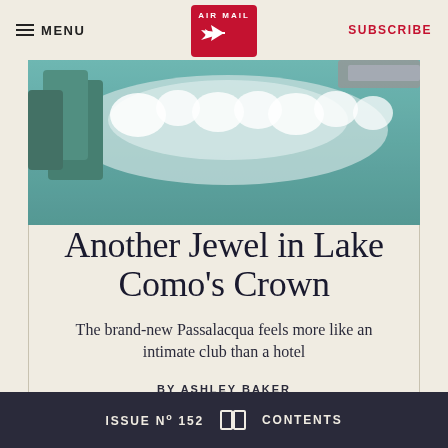MENU | AIR MAIL | SUBSCRIBE
[Figure (photo): Aerial or reflective view of Lake Como with teal green trees, water reflections, and a car partially visible at the top right edge. Misty, atmospheric scene.]
Another Jewel in Lake Como’s Crown
The brand-new Passalacqua feels more like an intimate club than a hotel
BY ASHLEY BAKER
ISSUE Nº 152   📖   CONTENTS